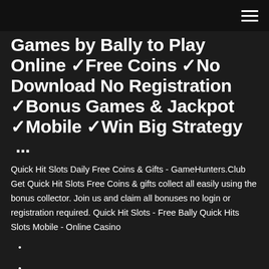Games by Bally to Play Online ✓Free Coins ✓No Download No Registration ✓Bonus Games & Jackpot ✓Mobile ✓Win Big Strategy ...
Quick Hit Slots Daily Free Coins & Gifts - GameHunters.Club Get Quick Hit Slots Free Coins & gifts collect all easily using the bonus collector. Join us and claim all bonuses no login or registration required. Quick Hit Slots - Free Bally Quick Hits Slots Mobile - Online Casino